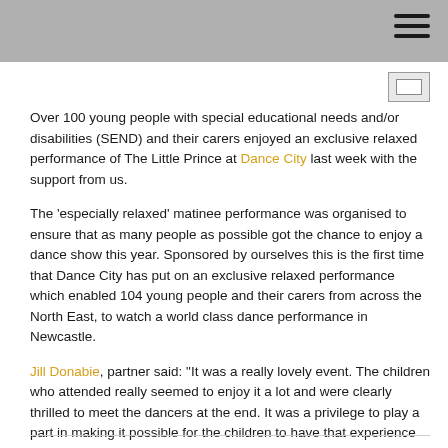Over 100 young people with special educational needs and/or disabilities (SEND) and their carers enjoyed an exclusive relaxed performance of The Little Prince at Dance City last week with the support from us.
The ‘especially relaxed’ matinee performance was organised to ensure that as many people as possible got the chance to enjoy a dance show this year. Sponsored by ourselves this is the first time that Dance City has put on an exclusive relaxed performance which enabled 104 young people and their carers from across the North East, to watch a world class dance performance in Newcastle.
Jill Donabie, partner said: “It was a really lovely event. The children who attended really seemed to enjoy it a lot and were clearly thrilled to meet the dancers at the end. It was a privilege to play a part in making it possible for the children to have that experience and to give something back to our local community at the same time. I thoroughly enjoyed the show too!”